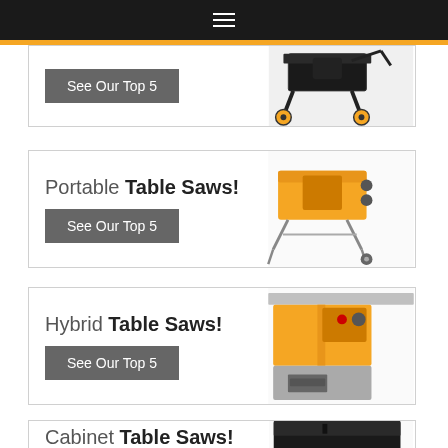Navigation menu
[Figure (photo): Partial card showing a table saw on wheels with a 'See Our Top 5' button]
[Figure (photo): Portable Table Saws card with orange portable table saw image and 'See Our Top 5' button]
[Figure (photo): Hybrid Table Saws card with orange hybrid table saw image and 'See Our Top 5' button]
[Figure (photo): Cabinet Table Saws card with black cabinet table saw image, partially visible]